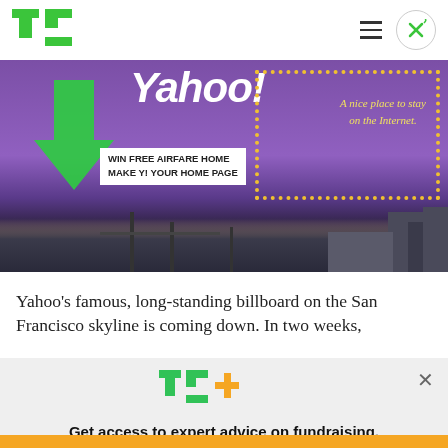[Figure (logo): TechCrunch TC logo in green]
[Figure (photo): Yahoo billboard on San Francisco skyline showing 'WIN FREE AIRFARE HOME MAKE Y! YOUR HOME PAGE' with green arrow, purple background and dotted border]
Yahoo's famous, long-standing billboard on the San Francisco skyline is coming down. In two weeks,
[Figure (logo): TC+ logo with green TC and orange plus sign]
Get access to expert advice on fundraising, growth, and management for your startup.
EXPLORE NOW